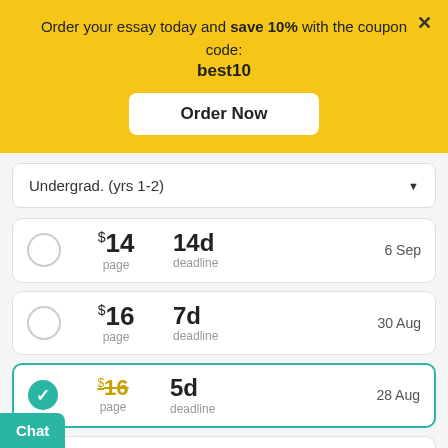Order your essay today and save 10% with the coupon code: best10
[Figure (screenshot): Order Now button on yellow banner]
Undergrad. (yrs 1-2) dropdown
$14 / page, 14d deadline, 6 Sep
$16 / page, 7d deadline, 30 Aug
$16 / page (selected, strikethrough), 5d deadline, 28 Aug
3d deadline, 26 Aug
Chat